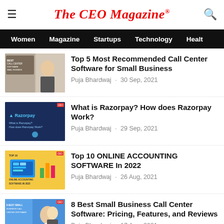The CEO Magazine®
Women  Magazine  Startups  Technology  Healt
Top 5 Most Recommended Call Center Software for Small Business
Puja Bhardwaj · 30 Sep, 2021
What is Razorpay? How does Razorpay Work?
Puja Bhardwaj · 29 Sep, 2021
Top 10 ONLINE ACCOUNTING SOFTWARE In 2022
Puja Bhardwaj · 26 Aug, 2021
8 Best Small Business Call Center Software: Pricing, Features, and Reviews
Puja Bhardwaj · 17 Aug, 2021